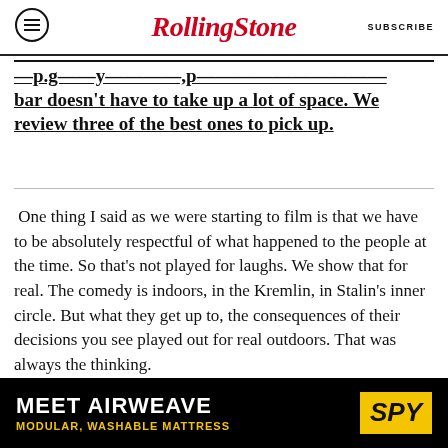RollingStone — SUBSCRIBE
bar doesn't have to take up a lot of space. We review three of the best ones to pick up.
One thing I said as we were starting to film is that we have to be absolutely respectful of what happened to the people at the time. So that's not played for laughs. We show that for real. The comedy is indoors, in the Kremlin, in Stalin's inner circle. But what they get up to, the consequences of their decisions you see played out for real outdoors. That was always the thinking.
[Figure (other): Advertisement banner: MEET AIRWEAVE, MODULAR, WASHABLE MATTRESS with SPY logo on yellow/black background]